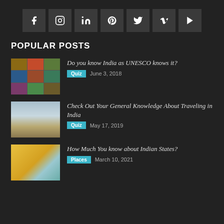[Figure (infographic): Row of 7 social media icon buttons (Facebook, Instagram, LinkedIn, Pinterest, Twitter, Vimeo, YouTube) on dark background]
POPULAR POSTS
Do you know India as UNESCO knows it? | Quiz | June 3, 2018
Check Out Your General Knowledge About Traveling in India | Quiz | May 17, 2019
How Much You know about Indian States? | Places | March 10, 2021